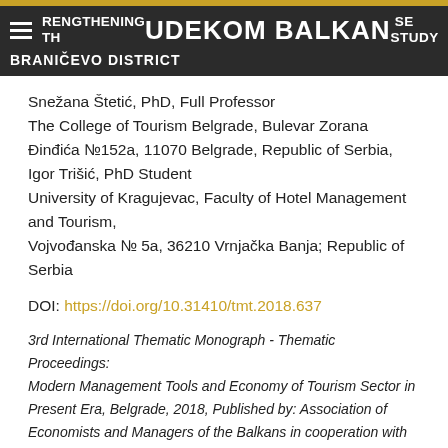STRENGTHENING THE TOURISM CASE STUDY BRANIČEVO DISTRICT | UDEKOM BALKAN
Snežana Štetić, PhD, Full Professor
The College of Tourism Belgrade, Bulevar Zorana Đinđića №152a, 11070 Belgrade, Republic of Serbia,
Igor Trišić, PhD Student
University of Kragujevac, Faculty of Hotel Management and Tourism,
Vojvođanska № 5a, 36210 Vrnjačka Banja; Republic of Serbia
DOI: https://doi.org/10.31410/tmt.2018.637
3rd International Thematic Monograph - Thematic Proceedings: Modern Management Tools and Economy of Tourism Sector in Present Era, Belgrade, 2018, Published by: Association of Economists and Managers of the Balkans in cooperation with the